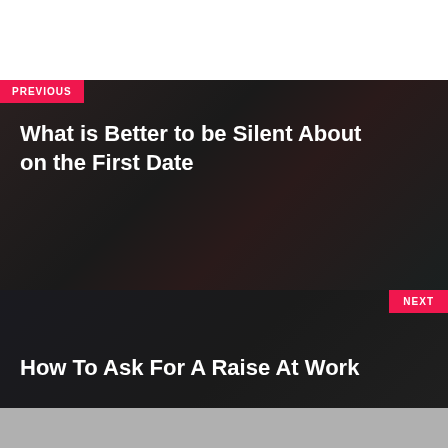[Figure (photo): Dark blurred photo background for previous article section]
PREVIOUS
What is Better to be Silent About on the First Date
[Figure (photo): Dark photo background showing a man in a suit for next article section]
NEXT
How To Ask For A Raise At Work